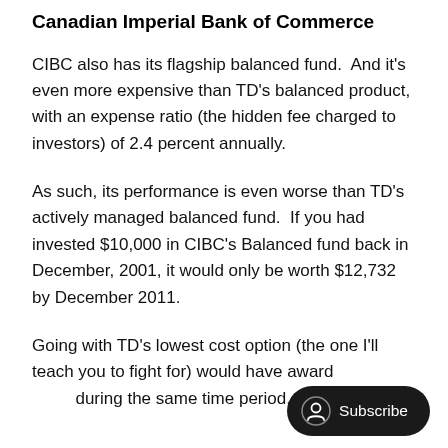Canadian Imperial Bank of Commerce
CIBC also has its flagship balanced fund.  And it's even more expensive than TD's balanced product, with an expense ratio (the hidden fee charged to investors) of 2.4 percent annually.
As such, its performance is even worse than TD's actively managed balanced fund.  If you had invested $10,000 in CIBC's Balanced fund back in December, 2001, it would only be worth $12,732 by December 2011.
Going with TD's lowest cost option (the one I'll teach you to fight for) would have award during the same time period.